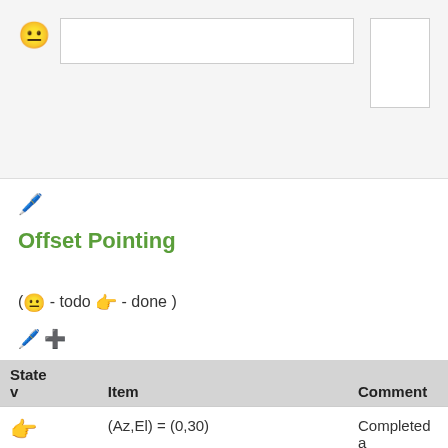[Figure (screenshot): Top form area with emoji face icon, text input box, and secondary input box on gray background]
[Figure (screenshot): Edit pencil icon]
Offset Pointing
( 😐 - todo 👉 - done )
[Figure (screenshot): Edit pencil and green plus icons]
| State v | Item | Comment |
| --- | --- | --- |
| 👉 | (Az,El) = (0,30) | Completed a |
| 👉 | (Az,El) = (0,45) | Completed a |